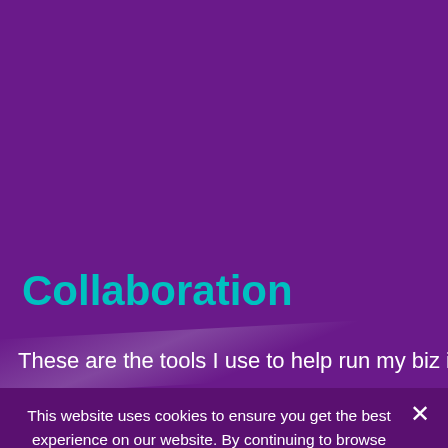Collaboration
These are the tools I use to help run my biz in a
This website uses cookies to ensure you get the best experience on our website. By continuing to browse on this website, you accept the use of cookies for the above purposes.
I UNDERSTAND